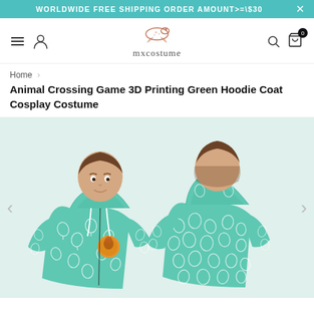WORLDWIDE FREE SHIPPING ORDER AMOUNT>=¤30
[Figure (logo): mxcostume brand logo with cheetah illustration above the text 'mxcostume']
Home › Animal Crossing Game 3D Printing Green Hoodie Coat Cosplay Costume
Animal Crossing Game 3D Printing Green Hoodie Coat Cosplay Costume
[Figure (photo): A young man wearing a teal green hoodie with white leaf pattern print and a round orange badge, shown from front and back views.]